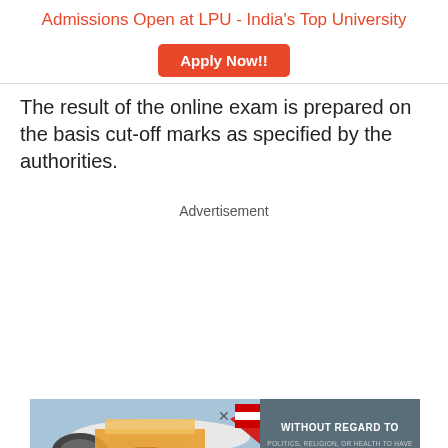Admissions Open at LPU - India's Top University
[Figure (other): Orange 'Apply Now!!' button for LPU admissions]
The result of the online exam is prepared on the basis cut-off marks as specified by the authorities.
Advertisement
[Figure (photo): Advertisement banner showing cargo being loaded onto a Southwest Airlines aircraft, with a dark grey panel on the right reading 'WITHOUT REGARD TO POLITICS, RELIGION, OR HEALTH TO HAVE']